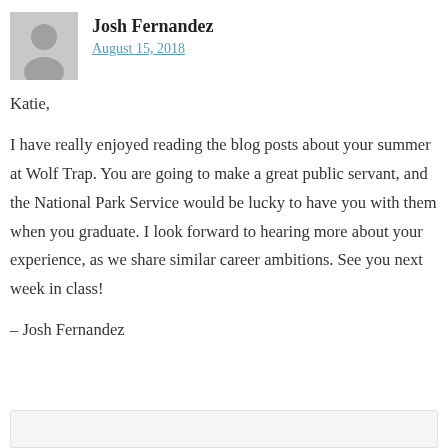Josh Fernandez
August 15, 2018
Katie,

I have really enjoyed reading the blog posts about your summer at Wolf Trap. You are going to make a great public servant, and the National Park Service would be lucky to have you with them when you graduate. I look forward to hearing more about your experience, as we share similar career ambitions. See you next week in class!

– Josh Fernandez